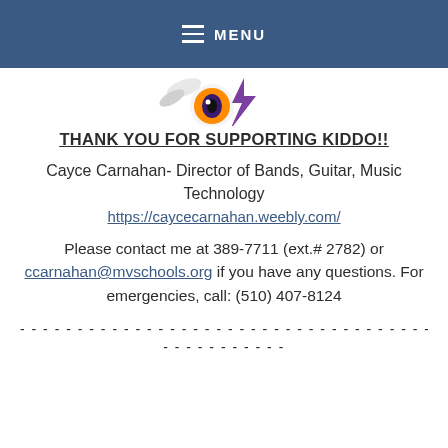MENU
[Figure (illustration): Partial mascot image (cartoon animal head with orange eye and purple lightning bolt) visible at bottom of header area]
THANK YOU FOR SUPPORTING KIDDO!!
Cayce Carnahan- Director of Bands, Guitar, Music Technology
https://caycecarnahan.weebly.com/
Please contact me at 389-7711 (ext.# 2782) or ccarnahan@mvschools.org if you have any questions. For emergencies, call: (510) 407-8124
- - - - - - - - - - - - - - - - - - - - - - - - - - - - - - - - - - - - - -
- - - - - - - - - - -